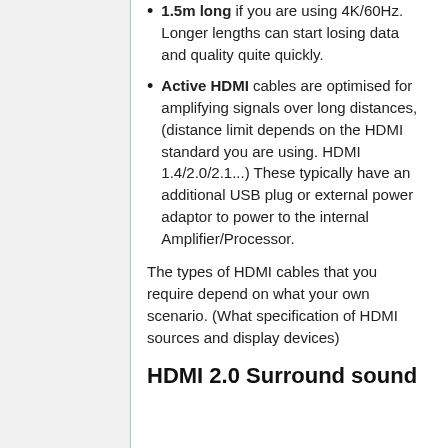1.5m long if you are using 4K/60Hz. Longer lengths can start losing data and quality quite quickly.
Active HDMI cables are optimised for amplifying signals over long distances, (distance limit depends on the HDMI standard you are using. HDMI 1.4/2.0/2.1...) These typically have an additional USB plug or external power adaptor to power to the internal Amplifier/Processor.
The types of HDMI cables that you require depend on what your own scenario. (What specification of HDMI sources and display devices)
HDMI 2.0 Surround sound